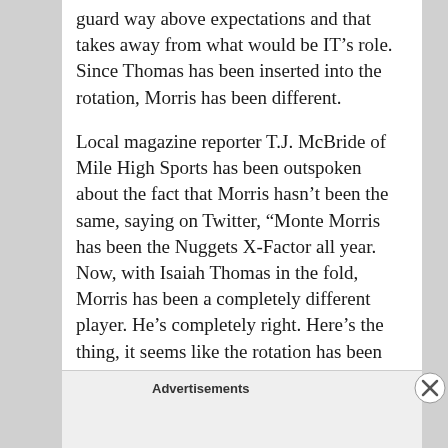guard way above expectations and that takes away from what would be IT's role. Since Thomas has been inserted into the rotation, Morris has been different.

Local magazine reporter T.J. McBride of Mile High Sports has been outspoken about the fact that Morris hasn't been the same, saying on Twitter, “Monte Morris has been the Nuggets X-Factor all year. Now, with Isaiah Thomas in the fold, Morris has been a completely different player. He’s completely right. Here’s the thing, it seems like the rotation has been pretty set and the biggest proof
Advertisements